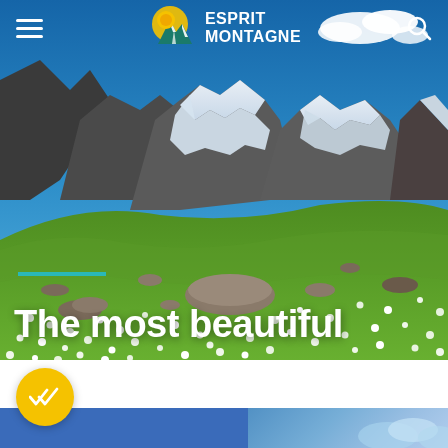[Figure (photo): Mountain landscape with snow-capped peaks, blue sky, green alpine meadow with white wildflowers and scattered rocks. Esprit Montagne website hero image.]
ESPRIT MONTAGNE
The most beautiful
[Figure (logo): Yellow circle with checkmark/double-check icon]